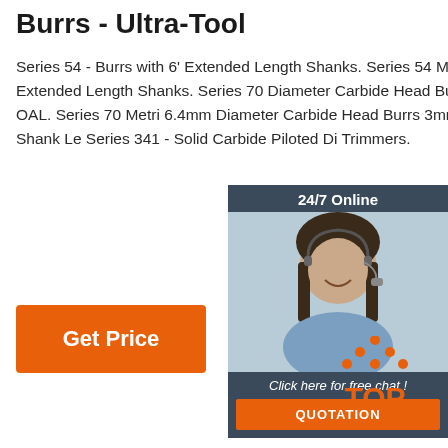Burrs - Ultra-Tool
Series 54 - Burrs with 6' Extended Length Shanks. Series 54 Metric - Burrs with 6' Extended Length Shanks. Series 70 Diameter Carbide Head Burrs • 1/8 S Shank • 2' max OAL. Series 70 Metri 6.4mm Diameter Carbide Head Burrs 3mm Steel Shank • 38mm Shank Le Series 341 - Solid Carbide Piloted Di Trimmers.
[Figure (infographic): Customer service chat widget with '24/7 Online' header, photo of a woman with headset smiling, 'Click here for free chat!' text, and orange QUOTATION button]
Get Price
[Figure (logo): Orange TOP logo with dots forming a triangle above the letters TOP]